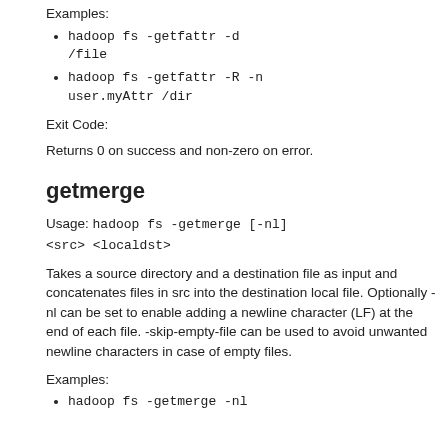Examples:
hadoop fs -getfattr -d /file
hadoop fs -getfattr -R -n user.myAttr /dir
Exit Code:
Returns 0 on success and non-zero on error.
getmerge
Usage: hadoop fs -getmerge [-nl] <src> <localdst>
Takes a source directory and a destination file as input and concatenates files in src into the destination local file. Optionally -nl can be set to enable adding a newline character (LF) at the end of each file. -skip-empty-file can be used to avoid unwanted newline characters in case of empty files.
Examples:
hadoop fs -getmerge -nl